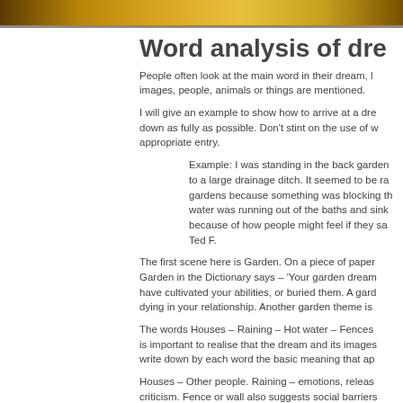[Figure (photo): A photograph strip showing yellow/golden flowers or foliage at the top of the page]
Word analysis of dre…
People often look at the main word in their dream, l… images, people, animals or things are mentioned.
I will give an example to show how to arrive at a dre… down as fully as possible. Don't stint on the use of w… appropriate entry.
Example: I was standing in the back garden… to a large drainage ditch. It seemed to be ra… gardens because something was blocking th… water was running out of the baths and sink… because of how people might feel if they sa… Ted F.
The first scene here is Garden. On a piece of paper… Garden in the Dictionary says – 'Your garden dream… have cultivated your abilities, or buried them. A gard… dying in your relationship. Another garden theme is…
The words Houses – Raining – Hot water – Fences… is important to realise that the dream and its images… write down by each word the basic meaning that ap…
Houses – Other people. Raining – emotions, releas… criticism. Fence or wall also suggests social barriers… between those of different social, religious or econo…